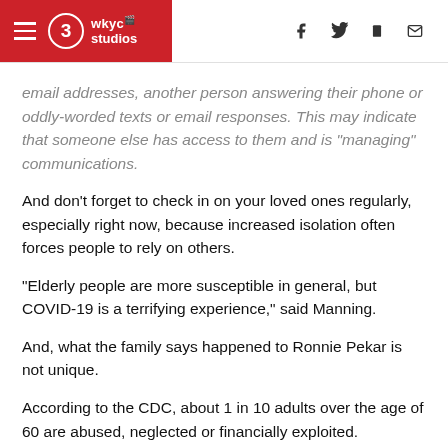WKYC Studios — navigation header with hamburger menu, logo, and social icons (Facebook, Twitter, mobile, email)
email addresses, another person answering their phone or oddly-worded texts or email responses. This may indicate that someone else has access to them and is "managing" communications.
And don't forget to check in on your loved ones regularly, especially right now, because increased isolation often forces people to rely on others.
"Elderly people are more susceptible in general, but COVID-19 is a terrifying experience," said Manning.
And, what the family says happened to Ronnie Pekar is not unique.
According to the CDC, about 1 in 10 adults over the age of 60 are abused, neglected or financially exploited.
"I don't think I'm the end of this and I don't think Ronnie is the end of this. I think she did it before and I think she's